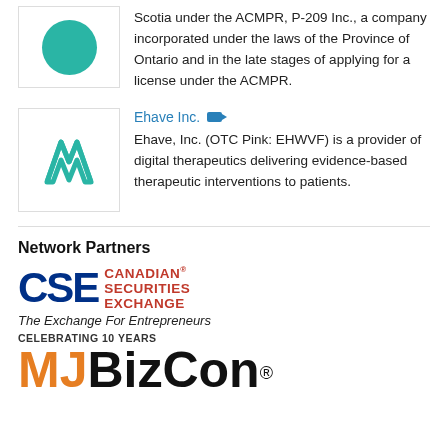Scotia under the ACMPR, P-209 Inc., a company incorporated under the laws of the Province of Ontario and in the late stages of applying for a license under the ACMPR.
[Figure (logo): Ehave Inc. company logo with stylized AV letters in teal]
Ehave Inc.
Ehave, Inc. (OTC Pink: EHWVF) is a provider of digital therapeutics delivering evidence-based therapeutic interventions to patients.
Network Partners
[Figure (logo): CSE Canadian Securities Exchange logo with tagline The Exchange For Entrepreneurs]
[Figure (logo): MJBizCon logo with CELEBRATING 10 YEARS text above]